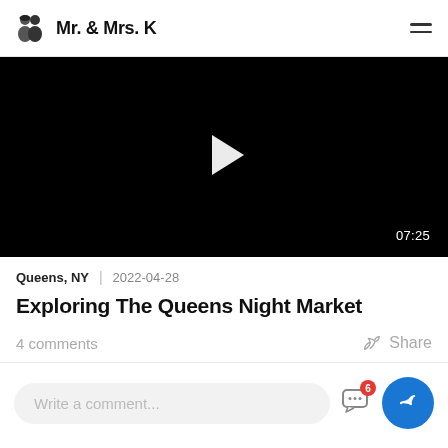Mr. & Mrs. K
[Figure (screenshot): Black video thumbnail with a white play button triangle in the center and a time badge '07:25' in the bottom right corner]
Queens, NY  |  2022-04-28
Exploring The Queens Night Market
4 comments    Share
Write a comment...